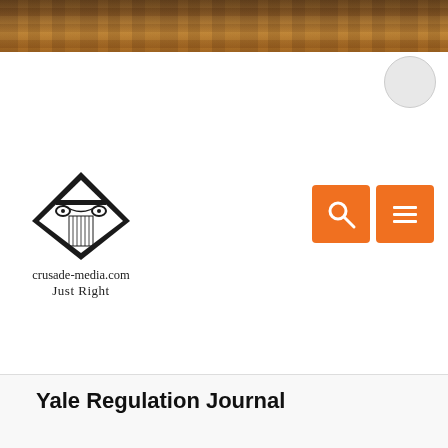[Figure (photo): Banner image of a row of old law books on shelves, warm brown tones]
[Figure (logo): crusade-media.com Just Right logo with diamond shape containing a Ionic column capital]
[Figure (other): Two orange square navigation buttons: a search (magnifying glass) button and a menu (hamburger) button]
Yale Regulation Journal